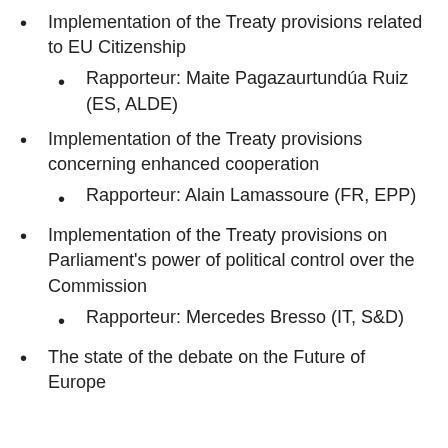Implementation of the Treaty provisions related to EU Citizenship
Rapporteur: Maite Pagazaurtundúa Ruiz (ES, ALDE)
Implementation of the Treaty provisions concerning enhanced cooperation
Rapporteur: Alain Lamassoure (FR, EPP)
Implementation of the Treaty provisions on Parliament's power of political control over the Commission
Rapporteur: Mercedes Bresso (IT, S&D)
The state of the debate on the Future of Europe